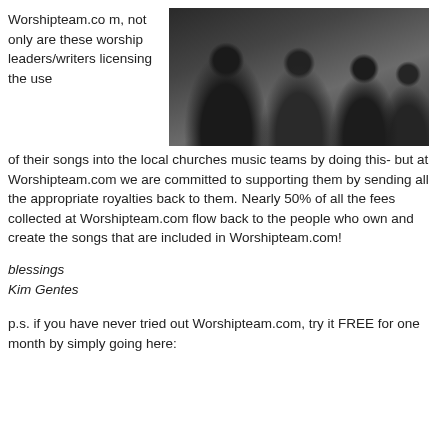Worshipteam.com, not only are these worship leaders/writers licensing the use of their songs into the local churches music teams by doing this- but at Worshipteam.com we are committed to supporting them by sending all the appropriate royalties back to them. Nearly 50% of all the fees collected at Worshipteam.com flow back to the people who own and create the songs that are included in Worshipteam.com!
[Figure (photo): Group photo of several young men, appears to be a band or music group, dark/moody lighting, black and white or desaturated tones]
blessings
Kim Gentes
p.s. if you have never tried out Worshipteam.com, try it FREE for one month by simply going here: